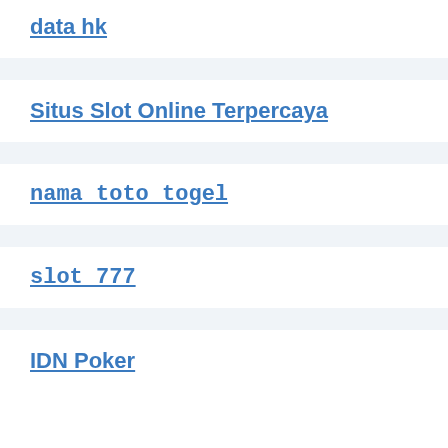data hk
Situs Slot Online Terpercaya
nama toto togel
slot 777
IDN Poker